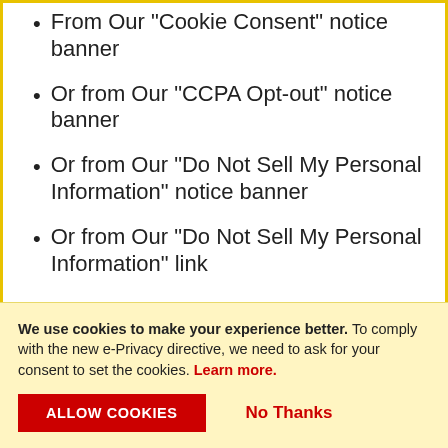From Our "Cookie Consent" notice banner
Or from Our "CCPA Opt-out" notice banner
Or from Our "Do Not Sell My Personal Information" notice banner
Or from Our "Do Not Sell My Personal Information" link
The opt out will place a cookie on Your
We use cookies to make your experience better. To comply with the new e-Privacy directive, we need to ask for your consent to set the cookies. Learn more.